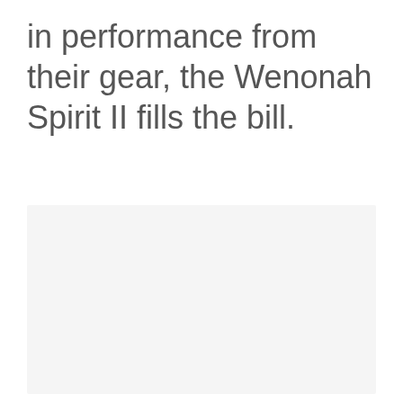in performance from their gear, the Wenonah Spirit II fills the bill.
[Figure (photo): A large light gray rectangular image placeholder area occupying the lower three-quarters of the page.]